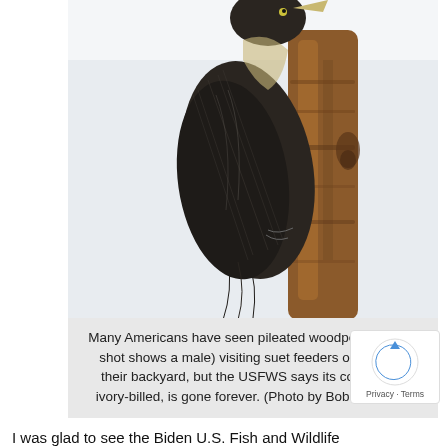[Figure (photo): A pileated woodpecker (male) clinging to a dead tree branch, photographed close-up showing its dark feathered back and the brown/tan bark of the tree. The background is white/light gray.]
Many Americans have seen pileated woodpeckers (this shot shows a male) visiting suet feeders or a tree in their backyard, but the USFWS says its cousin, the ivory-billed, is gone forever. (Photo by Bob Drieslein)
I was glad to see the Biden U.S. Fish and Wildlife